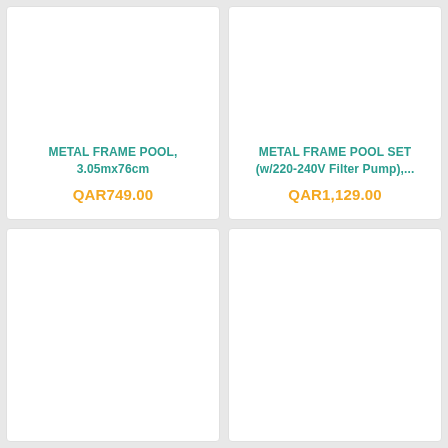METAL FRAME POOL, 3.05mx76cm
QAR749.00
METAL FRAME POOL SET (w/220-240V Filter Pump),...
QAR1,129.00
[Figure (other): Empty product card placeholder]
[Figure (other): Empty product card placeholder]